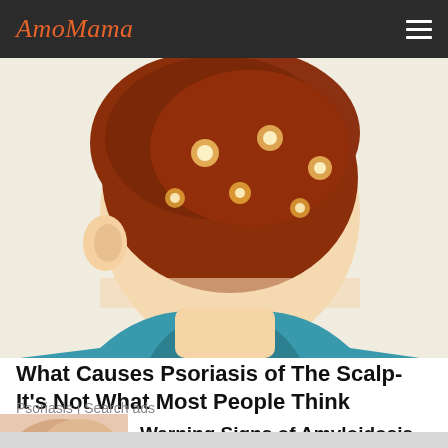AmoMama
[Figure (illustration): Illustration of a person seen from behind with reddish-brown scalp hair showing bright spots/lesions indicative of scalp psoriasis; person wearing a teal shirt]
What Causes Psoriasis of The Scalp- It's Not What Most People Think
Psoriasis | Search ads
[Figure (photo): Partial photo thumbnail showing skin/body area associated with amyloidosis article]
Warning Signs of Amyloidosis Shouldn't Be Ignored